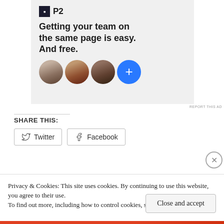[Figure (illustration): Advertisement banner for P2: logo, tagline 'Getting your team on the same page is easy. And free.', row of 3 person avatars and a blue plus button]
REPORT THIS AD
SHARE THIS:
[Figure (screenshot): Twitter share button]
[Figure (screenshot): Facebook share button]
[Figure (screenshot): Row of thumbnail images with a close X button]
Privacy & Cookies: This site uses cookies. By continuing to use this website, you agree to their use.
To find out more, including how to control cookies, see here: Cookie Policy
Close and accept